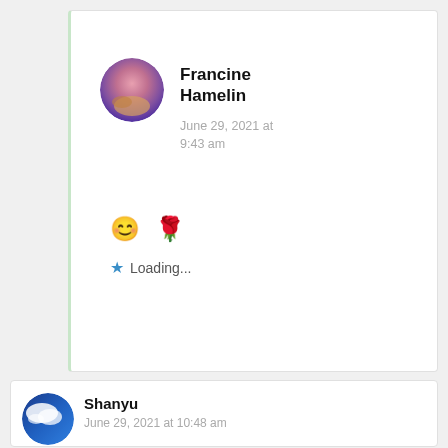Francine Hamelin
June 29, 2021 at 9:43 am
😊 🌹
★ Loading...
Shanyu
June 29, 2021 at 10:48 am